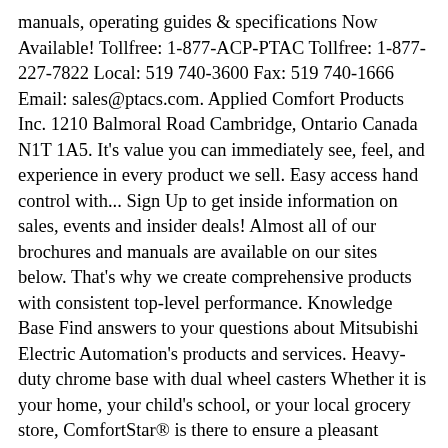manuals, operating guides & specifications Now Available! Tollfree: 1-877-ACP-PTAC Tollfree: 1-877-227-7822 Local: 519 740-3600 Fax: 519 740-1666 Email: sales@ptacs.com. Applied Comfort Products Inc. 1210 Balmoral Road Cambridge, Ontario Canada N1T 1A5. It's value you can immediately see, feel, and experience in every product we sell. Easy access hand control with... Sign Up to get inside information on sales, events and insider deals! Almost all of our brochures and manuals are available on our sites below. That's why we create comprehensive products with consistent top-level performance. Knowledge Base Find answers to your questions about Mitsubishi Electric Automation's products and services. Heavy-duty chrome base with dual wheel casters Whether it is your home, your child's school, or your local grocery store, ComfortStar® is there to ensure a pleasant environment, regardless of the climate. Store it away, show it off, accent your décor. Feel free to connect with us to resolve any questions you may have. Rocker, massage, cushy and plush, you name it. Traditional to ultra modern, and then some. Comfort Glow